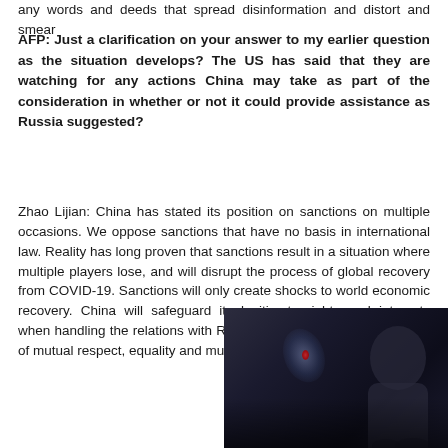any words and deeds that spread disinformation and distort and smear
AFP: Just a clarification on your answer to my earlier question as the situation develops? The US has said that they are watching for any actions China may take as part of the consideration in whether or not it could provide assistance as Russia suggested?
Zhao Lijian: China has stated its position on sanctions on multiple occasions. We oppose sanctions that have no basis in international law. Reality has long proven that sanctions result in a situation where multiple players lose, and will disrupt the process of global recovery from COVID-19. Sanctions will only create shocks to world economic recovery. China will safeguard its legitimate rights and interests when handling the relations with Russia in accordance with the spirit of mutual respect, equality and mutual benefits.
[Figure (photo): A dark photograph showing a person or figure in low light, with a blue/white highlight and a small red element visible, dark background with shadows]